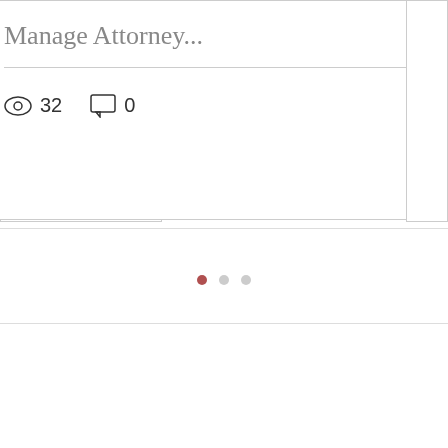Manage Attorney...
32
0
[Figure (other): Pagination dots: one filled dark-red dot followed by two light gray dots]